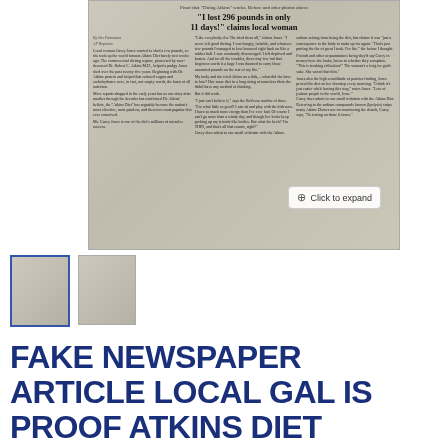[Figure (photo): Scanned newspaper article showing a before/after photo with headline 'I lost 296 pounds in only 11 days! claims local woman' about the Atkins Diet, with multiple columns of text and a 'Click to expand' badge overlay.]
[Figure (photo): Thumbnail 1: small preview of newspaper article with blue border]
[Figure (photo): Thumbnail 2: small preview of newspaper article]
FAKE NEWSPAPER ARTICLE LOCAL GAL IS PROOF ATKINS DIET REALLY WORKS